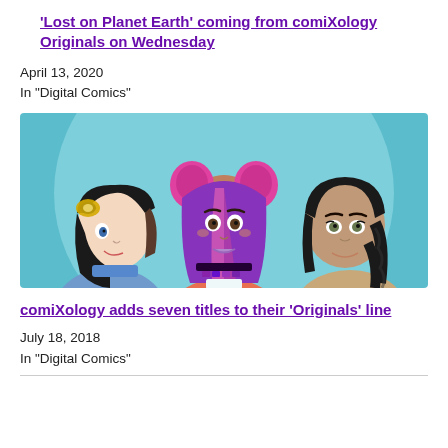'Lost on Planet Earth' coming from comiXology Originals on Wednesday
April 13, 2020
In "Digital Comics"
[Figure (illustration): Comic book art showing three animated female characters with stylized hair. Left character has black hair and goggles, center character has purple and pink hair with cat ears and a choker necklace, right character has dark braided hair. Background is teal/blue.]
comiXology adds seven titles to their ‘Originals’ line
July 18, 2018
In "Digital Comics"